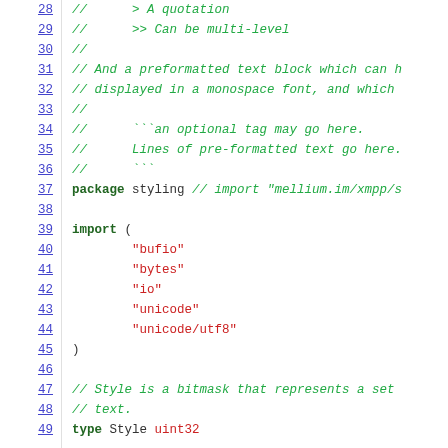Source code listing lines 28-49, Go package styling with comments and import block
28: //      > A quotation
29: //      >> Can be multi-level
30: //
31: // And a preformatted text block which can h
32: // displayed in a monospace font, and which
33: //
34: //      ```an optional tag may go here.
35: //      Lines of pre-formatted text go here.
36: //      ```
37: package styling // import "mellium.im/xmpp/s
38: 
39: import (
40:         "bufio"
41:         "bytes"
42:         "io"
43:         "unicode"
44:         "unicode/utf8"
45: )
46: 
47: // Style is a bitmask that represents a set
48: // text.
49: type Style uint32